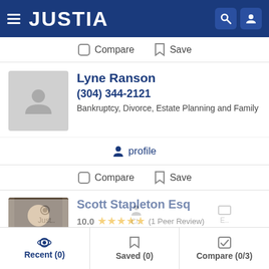JUSTIA
Compare  Save
Lyne Ranson
(304) 344-2121
Bankruptcy, Divorce, Estate Planning and Family
profile
Compare  Save
Scott Stapleton Esq
10.0 ★★★★★ (1 Peer Review)
(304) 529-1130 Free Consultation + Video Conf
Recent (0)  Saved (0)  Compare (0/3)